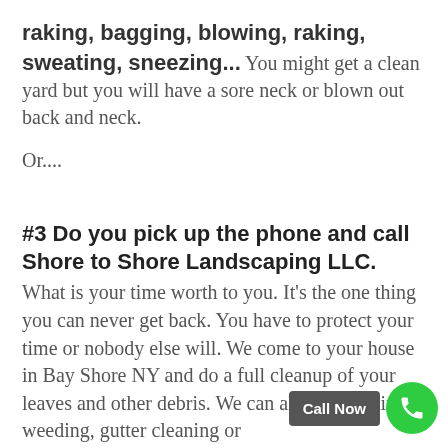raking, bagging, blowing, raking, sweating, sneezing... You might get a clean yard but you will have a sore neck or blown out back and neck.
Or....
#3 Do you pick up the phone and call Shore to Shore Landscaping LLC.
What is your time worth to you. It's the one thing you can never get back. You have to protect your time or nobody else will. We come to your house in Bay Shore NY and do a full cleanup of your leaves and other debris. We can also y trimming, weeding, gutter cleaning or